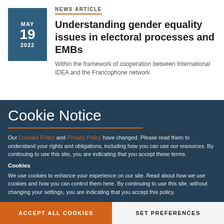MAY 19 2022
NEWS ARTICLE
Understanding gender equality issues in electoral processes and EMBs
Within the framework of cooperation between International IDEA and the Francophone network
Cookie Notice
Our Cookies Policy and Privacy Policy have changed. Please read them to understand your rights and obligations, including how you can use our resources. By continuing to use this site, you are indicating that you accept these terms.
Cookies
We use cookies to enhance your experience on our site. Read about how we use cookies and how you can control them here. By continuing to use this site, without changing your settings, you are indicating that you accept this policy.
ACCEPT ALL COOKIES
SET PREFERENCES